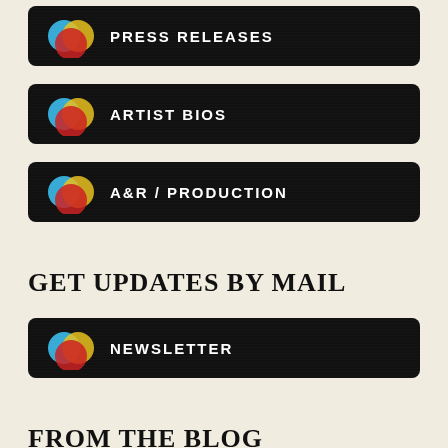[Figure (screenshot): Navigation button with tricolor circle logo and text PRESS RELEASES on dark textured background]
[Figure (screenshot): Navigation button with tricolor circle logo and text ARTIST BIOS on dark textured background]
[Figure (screenshot): Navigation button with tricolor circle logo and text A&R / PRODUCTION on dark textured background]
GET UPDATES BY MAIL
[Figure (screenshot): Navigation button with tricolor circle logo and text NEWSLETTER on dark textured background]
FROM THE BLOG
[Figure (screenshot): Blog thumbnail image with tricolor circle logo on dark background]
Designing an Album Cover
Aug 12, 2022